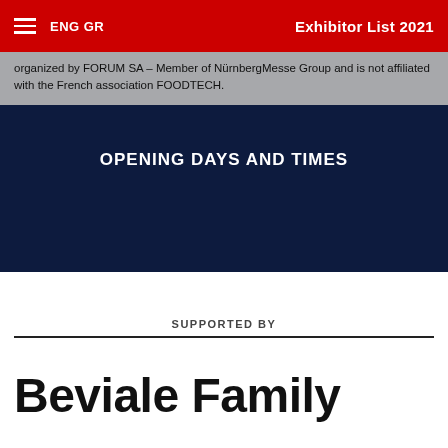ENG  GR   Exhibitor List 2021
organized by FORUM SA – Member of NürnbergMesse Group and is not affiliated with the French association FOODTECH.
OPENING DAYS AND TIMES
SUPPORTED BY
Beviale Family